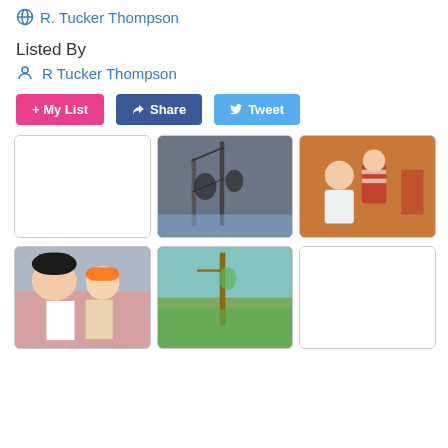R. Tucker Thompson
Listed By
R Tucker Thompson
+ My List
Share
Tweet
[Figure (photo): Empty white placeholder photo cell]
[Figure (photo): People on a ship rigging, dark silhouette against sky]
[Figure (photo): Children in pirate costumes, close up]
[Figure (photo): Two people in pirate costumes, one with large hat]
[Figure (photo): Person on boat mast with green trees in background]
[Figure (photo): Empty white placeholder photo cell]